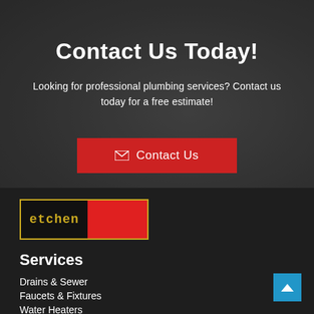Contact Us Today!
Looking for professional plumbing services?  Contact us today for a free estimate!
[Figure (other): Red button with envelope icon and text 'Contact Us']
[Figure (logo): Etchen company logo: black rectangle with yellow border, yellow text 'etchen' on left, red rectangle on right]
Services
Drains & Sewer
Faucets & Fixtures
Water Heaters